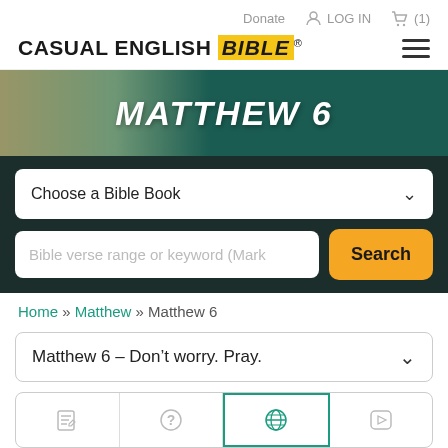Donate  LOG IN  (1)
CASUAL ENGLISH BIBLE®
[Figure (screenshot): Matthew 6 hero banner with desert landscape background and dark teal overlay]
Choose a Bible Book
Bible verse range or keyword (Mark
Search
Home » Matthew » Matthew 6
Matthew 6 – Don't worry. Pray.
[Figure (screenshot): Tab bar with four icons: notes/edit, question mark, globe (active, teal border), and play button]